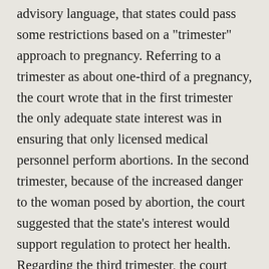advisory language, that states could pass some restrictions based on a "trimester" approach to pregnancy. Referring to a trimester as about one-third of a pregnancy, the court wrote that in the first trimester the only adequate state interest was in ensuring that only licensed medical personnel perform abortions. In the second trimester, because of the increased danger to the woman posed by abortion, the court suggested that the state's interest would support regulation to protect her health. Regarding the third trimester, the court referred to the increased danger to the woman and the increased potential for life of the fetus, and said that a state could then prohibit abortion except for very limited reasons, such as to save the woman's life.